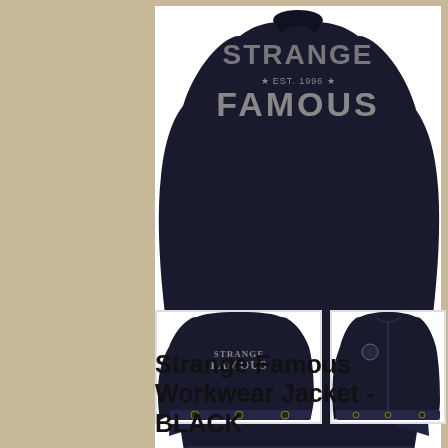[Figure (photo): Main product photo: black Strange Famous Workwear Jacket laid flat showing front/back with 'STRANGE FAMOUS EST. 1996' text on back, snap buttons at hem, on white background]
[Figure (photo): Thumbnail 1: back view of black Strange Famous Workwear Jacket showing 'STRANGE FAMOUS' text]
[Figure (photo): Thumbnail 2: front view of black Strange Famous Workwear Jacket showing zip closure and small logo patch]
Strange Famous Workwear Jacket - BLACK